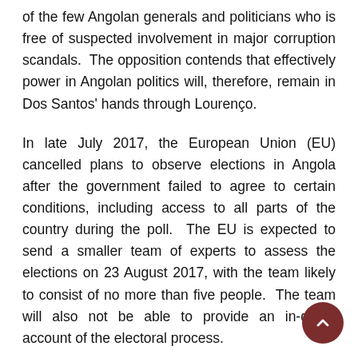of the few Angolan generals and politicians who is free of suspected involvement in major corruption scandals.  The opposition contends that effectively power in Angolan politics will, therefore, remain in Dos Santos' hands through Lourenço.
In late July 2017, the European Union (EU) cancelled plans to observe elections in Angola after the government failed to agree to certain conditions, including access to all parts of the country during the poll.  The EU is expected to send a smaller team of experts to assess the elections on 23 August 2017, with the team likely to consist of no more than five people.  The team will also not be able to provide an in-depth account of the electoral process.
The decision not to allow the EU to 'freely' observe elections will strengthen the perception that